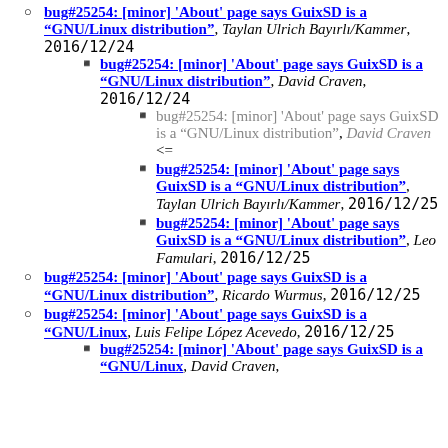bug#25254: [minor] 'About' page says GuixSD is a "GNU/Linux distribution", Taylan Ulrich Bayırlı/Kammer, 2016/12/24
bug#25254: [minor] 'About' page says GuixSD is a "GNU/Linux distribution", David Craven, 2016/12/24
bug#25254: [minor] 'About' page says GuixSD is a "GNU/Linux distribution", David Craven <=
bug#25254: [minor] 'About' page says GuixSD is a "GNU/Linux distribution", Taylan Ulrich Bayırlı/Kammer, 2016/12/25
bug#25254: [minor] 'About' page says GuixSD is a "GNU/Linux distribution", Leo Famulari, 2016/12/25
bug#25254: [minor] 'About' page says GuixSD is a "GNU/Linux distribution", Ricardo Wurmus, 2016/12/25
bug#25254: [minor] 'About' page says GuixSD is a "GNU/Linux, Luis Felipe López Acevedo, 2016/12/25
bug#25254: [minor] 'About' page says GuixSD is a "GNU/Linux, David Craven,